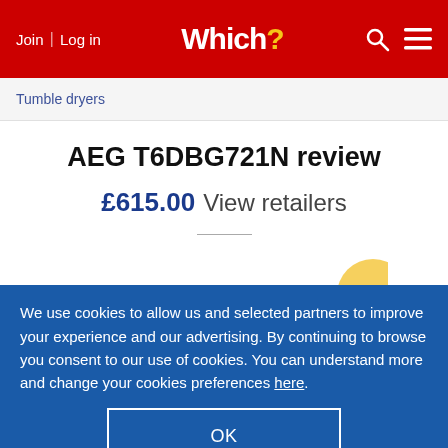Join | Log in  Which?
Tumble dryers
AEG T6DBG721N review
£615.00 View retailers
We use cookies to allow us and selected partners to improve your experience and our advertising. By continuing to browse you consent to our use of cookies. You can understand more and change your cookies preferences here.
OK